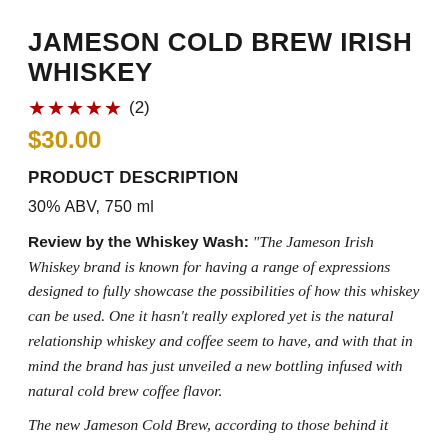JAMESON COLD BREW IRISH WHISKEY
★★★★★ (2)
$30.00
PRODUCT DESCRIPTION
30% ABV, 750 ml
Review by the Whiskey Wash: "The Jameson Irish Whiskey brand is known for having a range of expressions designed to fully showcase the possibilities of how this whiskey can be used. One it hasn't really explored yet is the natural relationship whiskey and coffee seem to have, and with that in mind the brand has just unveiled a new bottling infused with natural cold brew coffee flavor.
The new Jameson Cold Brew, according to those behind it